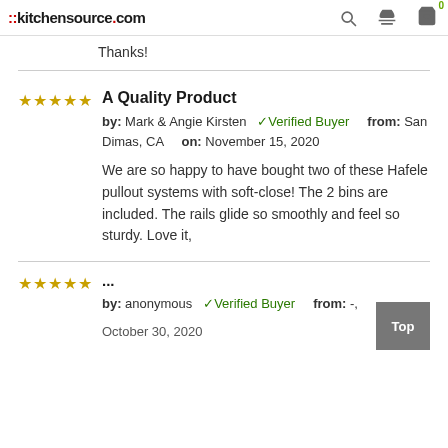::kitchensource.com
Thanks!
A Quality Product
by: Mark & Angie Kirsten ✓Verified Buyer from: San Dimas, CA on: November 15, 2020
We are so happy to have bought two of these Hafele pullout systems with soft-close! The 2 bins are included. The rails glide so smoothly and feel so sturdy. Love it,
...
by: anonymous ✓Verified Buyer from: -,
October 30, 2020